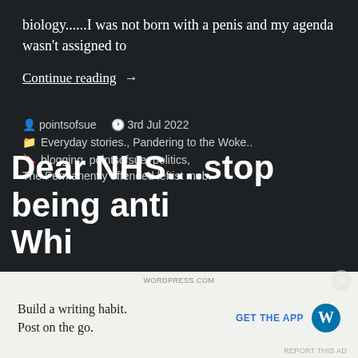biology......I was not born with a penis and my agenda wasn't assigned to
Continue reading →
pointsofsue   3rd Jul 2022
Everyday stories., Pandering to the Woke..
blogging, pointsofsue, politics,
The Permanently offended leftist mob.
Dear NHS....stop being anti White...
[Figure (screenshot): WordPress ad banner: Build a writing habit. Post on the go. GET THE APP with WordPress logo]